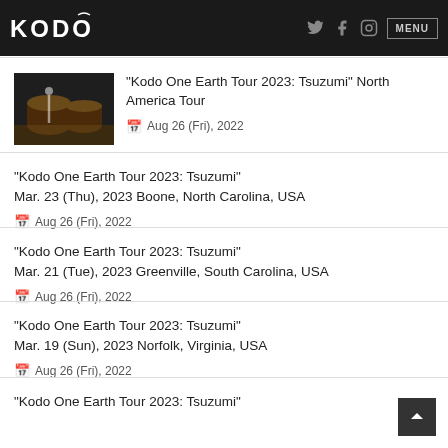KODO — Navigation header with Twitter, Facebook, Instagram icons and MENU button
"Kodo One Earth Tour 2023: Tsuzumi" North America Tour
Aug 26 (Fri), 2022
"Kodo One Earth Tour 2023: Tsuzumi"
Mar. 23 (Thu), 2023 Boone, North Carolina, USA
Aug 26 (Fri), 2022
"Kodo One Earth Tour 2023: Tsuzumi"
Mar. 21 (Tue), 2023 Greenville, South Carolina, USA
Aug 26 (Fri), 2022
"Kodo One Earth Tour 2023: Tsuzumi"
Mar. 19 (Sun), 2023 Norfolk, Virginia, USA
Aug 26 (Fri), 2022
"Kodo One Earth Tour 2023: Tsuzumi"